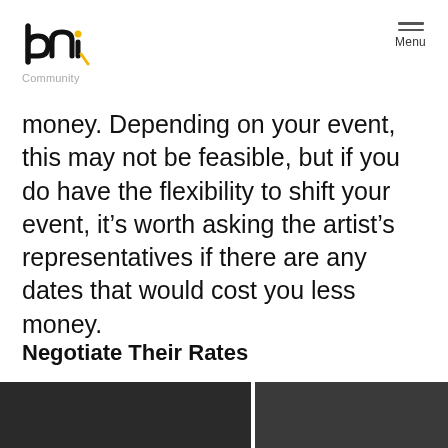bni Community Menu
money. Depending on your event, this may not be feasible, but if you do have the flexibility to shift your event, it’s worth asking the artist’s representatives if there are any dates that would cost you less money.
Negotiate Their Rates
[Figure (photo): Dark photo strip at the bottom of the page showing two people in low-light conditions, split by a white vertical gap.]